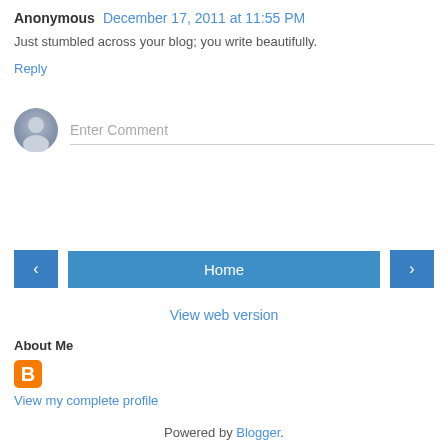Anonymous  December 17, 2011 at 11:55 PM
Just stumbled across your blog; you write beautifully.
Reply
[Figure (illustration): Anonymous user avatar circle with silhouette and Enter Comment placeholder text input field]
[Figure (infographic): Navigation row with left arrow button, Home button, and right arrow button in blue]
View web version
About Me
[Figure (logo): Orange Blogger B logo icon]
View my complete profile
Powered by Blogger.